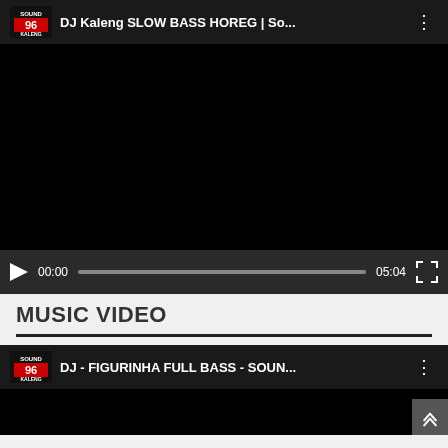[Figure (screenshot): Video player showing 'DJ Kaleng SLOW BASS HOREG | So...' with Sound Kaleng logo, black video area, and playback controls showing 00:00 / 05:04]
MUSIC VIDEO
[Figure (screenshot): Video card showing 'DJ - FIGURINHA FULL BASS - SOUN...' with Sound Kaleng logo on dark background]